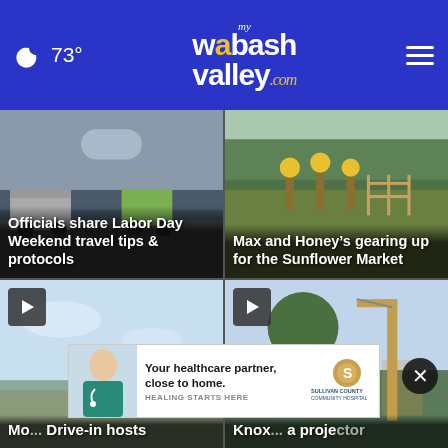73° mywabashvalley.com
[Figure (photo): Traffic scene with trucks, overlaid with article title about Labor Day Weekend travel tips]
Officials share Labor Day Weekend travel tips & protocols
[Figure (photo): Green field/farm scene, overlaid with article title about Max and Honey's gearing up for the Sunflower Market]
Max and Honey's gearing up for the Sunflower Market
[Figure (photo): Sky and field scene, video card with play button, partial title about Movie Drive-in hosts]
Mo... Drive-in hosts
[Figure (photo): Construction/tree scene, video card with play button, partial title about Knox and a project]
Knox... a project for
[Figure (other): Advertisement for Sullivan County Community Hospital: Your healthcare partner, close to home. Healing Starts Here.]